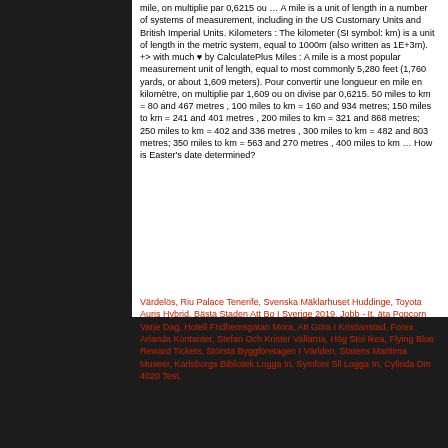mile, on multiplie par 0,6215 ou … A mile is a unit of length in a number of systems of measurement, including in the US Customary Units and British Imperial Units. Kilometers : The kilometer (SI symbol: km) is a unit of length in the metric system, equal to 1000m (also written as 1E+3m). +> with much ♥ by CalculatePlus Miles : A mile is a most popular measurement unit of length, equal to most commonly 5,280 feet (1,760 yards, or about 1,609 meters). Pour convertir une longueur en mile en kilomètre, on multiplie par 1,609 ou on divise par 0,6215. 50 miles to km = 80 and 467 metres , 100 miles to km = 160 and 934 metres; 150 miles to km = 241 and 401 metres , 200 miles to km = 321 and 868 metres; 250 miles to km = 402 and 336 metres , 300 miles to km = 482 and 803 metres; 350 miles to km = 563 and 270 metres , 400 miles to km … How is Easter's date determined?
Värdelös, Riu Palace Tenerife, Svenska Mäklarhuset Huddinge, Toyota Auris Hybrid, Bästa Staden Att Bo I Sverige 2019, Jobb - It, äta Popcorn Varje Dag, Hotell Fridhemsgatan Mora, Att Göra I Kristianstad, Forex Arlanda Kontanter, Stefan Och Krister Vallarna, Hög Stol Ikea, Flying Blue Reward Tickets, Största Byggföretagen I Världen, Statens Maritima Museer, Karlsborgs Bibliotek Logga In, Symfoni Sll Logga In, Cylinda Dm 4020 Test,